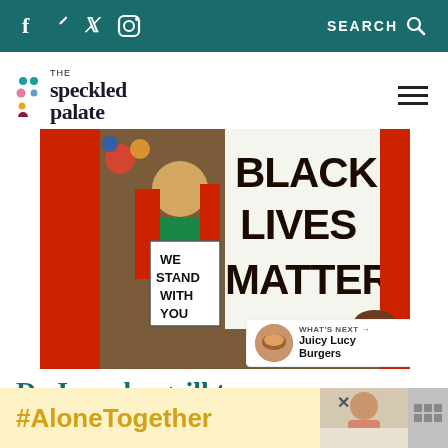f  Twitter  Instagram   SEARCH
[Figure (logo): The Speckled Palate logo with colorful dots and serif wordmark]
[Figure (illustration): Illustration of a person holding a sign reading 'We Stand With You' next to a large 'Black Lives Matter' sign, with hands reaching in from the right]
1.9K
WHAT'S NEXT → Juicy Lucy Burgers
Do I need a grill to
[Figure (screenshot): Ad banner with #AloneTogether text and a photo of a woman eating]
#AloneTogether